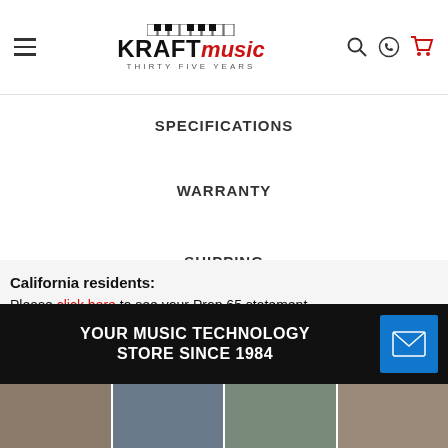Kraft Music — THIRTY FIVE YEARS
SPECIFICATIONS
WARRANTY
SHIPPING
California residents:
Please click here to see your Prop 65 statement.
YOUR MUSIC TECHNOLOGY STORE SINCE 1984